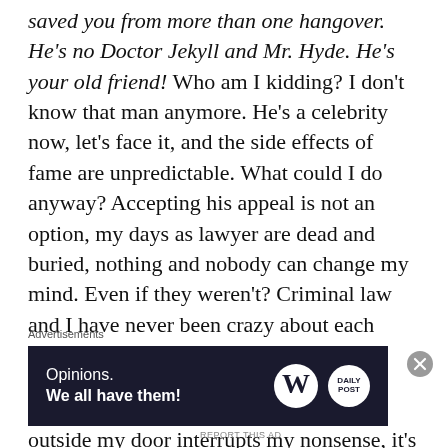saved you from more than one hangover. He's no Doctor Jekyll and Mr. Hyde. He's your old friend! Who am I kidding? I don't know that man anymore. He's a celebrity now, let's face it, and the side effects of fame are unpredictable. What could I do anyway? Accepting his appeal is not an option, my days as lawyer are dead and buried, nothing and nobody can change my mind. Even if they weren't? Criminal law and I have never been crazy about each other.
When the sound of Hannah's footfall outside my door interrupts my nonsense, it's almost a relief. I listen closely and upon hearing nothing but silence, I convince myself that she went back to sleep. I've been
Advertisements
[Figure (other): Advertisement banner with dark navy background. Text reads 'Opinions. We all have them!' with WordPress W logo and a circular Daily Post logo on the right.]